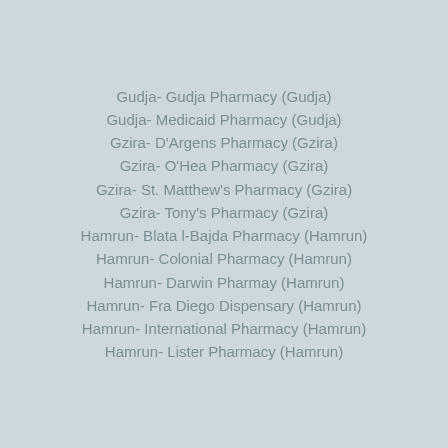Gudja- Gudja Pharmacy (Gudja)
Gudja- Medicaid Pharmacy (Gudja)
Gzira- D'Argens Pharmacy (Gzira)
Gzira- O'Hea Pharmacy (Gzira)
Gzira- St. Matthew's Pharmacy (Gzira)
Gzira- Tony's Pharmacy (Gzira)
Hamrun- Blata l-Bajda Pharmacy (Hamrun)
Hamrun- Colonial Pharmacy (Hamrun)
Hamrun- Darwin Pharmay (Hamrun)
Hamrun- Fra Diego Dispensary (Hamrun)
Hamrun- International Pharmacy (Hamrun)
Hamrun- Lister Pharmacy (Hamrun)